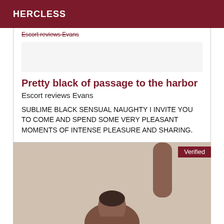HERCLESS
Escort reviews Evans
Pretty black of passage to the harbor
Escort reviews Evans
SUBLIME BLACK SENSUAL NAUGHTY I INVITE YOU TO COME AND SPEND SOME VERY PLEASANT MOMENTS OF INTENSE PLEASURE AND SHARING.
[Figure (photo): Photo of a person with arm raised, partially visible, with a 'Verified' badge overlay in dark red]
Verified